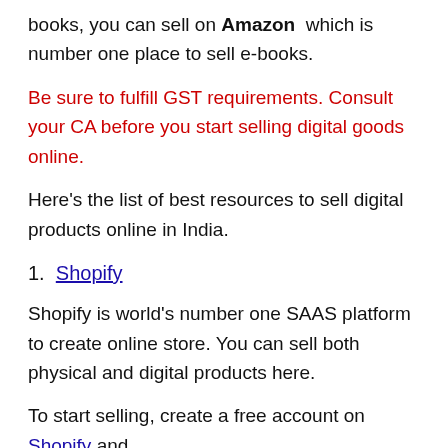books, you can sell on Amazon which is number one place to sell e-books.
Be sure to fulfill GST requirements. Consult your CA before you start selling digital goods online.
Here's the list of best resources to sell digital products online in India.
1. Shopify
Shopify is world's number one SAAS platform to create online store. You can sell both physical and digital products here.
To start selling, create a free account on Shopify and